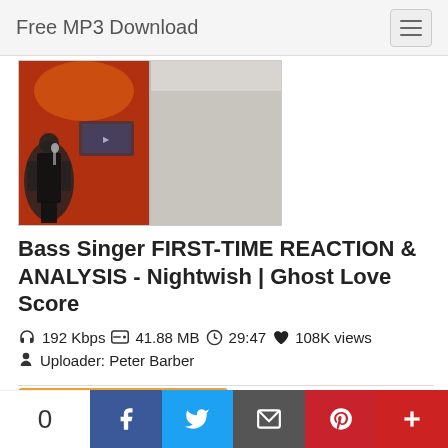Free MP3 Download
[Figure (screenshot): Thumbnail showing two split images: left side has a concert singer on stage with orange/red stage lighting, right side shows a person pointing at the camera in a room setting.]
Bass Singer FIRST-TIME REACTION & ANALYSIS - Nightwish | Ghost Love Score
192 Kbps   41.88 MB   29:47   108K views
Uploader: Peter Barber
DOWNLOAD
PLAY
0